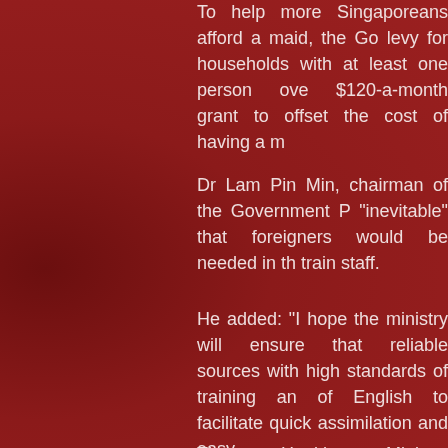To help more Singaporeans afford a maid, the Go levy for households with at least one person ove $120-a-month grant to offset the cost of having a m
Dr Lam Pin Min, chairman of the Government P "inevitable" that foreigners would be needed in th train staff.
He added: "I hope the ministry will ensure that reliable sources with high standards of training an of English to facilitate quick assimilation and easy
The Health Ministry spokesman said overseas- language schools have to meet minimum standard to practise here.
"Their language skills are also monitored closely d not compromised," she said.